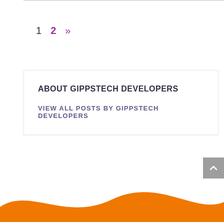1  2  »
ABOUT GIPPSTECH DEVELOPERS
VIEW ALL POSTS BY GIPPSTECH DEVELOPERS
[Figure (illustration): Orange wave/curve shape at the bottom of the page]
[Figure (other): Gray scroll-to-top button with upward arrow chevron]